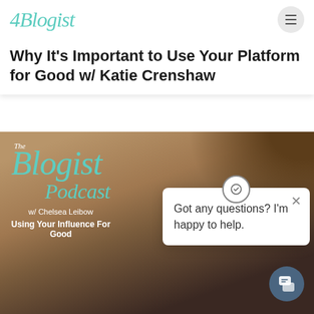4Blogist
Why It's Important to Use Your Platform for Good w/ Katie Crenshaw
[Figure (photo): Photo of a woman with blonde-brown hair and dark lipstick; overlaid with The Blogist Podcast branding in teal script, with text 'w/ Chelsea Leibow' and 'Using Your Influence For Good'. A chat popup reads 'Got any questions? I'm happy to help.']